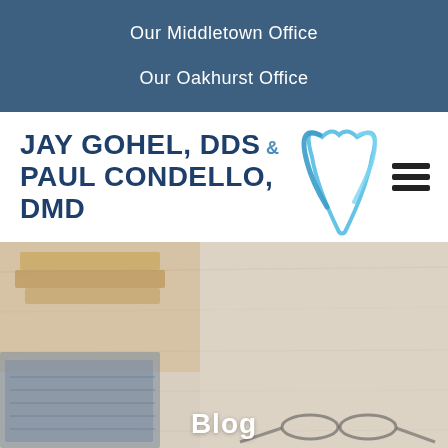Our Middletown Office
Our Oakhurst Office
[Figure (logo): Jay Gohel, DDS & Paul Condello, DMD dental practice logo with tooth graphic in blue tones]
[Figure (photo): Overhead view of a desk with a laptop keyboard, glasses, and books on a light wood surface]
Blog